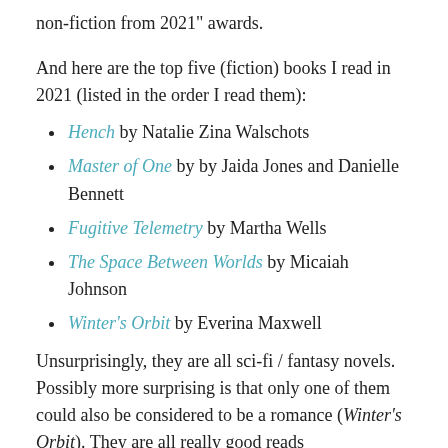non-fiction from 2021" awards.
And here are the top five (fiction) books I read in 2021 (listed in the order I read them):
Hench by Natalie Zina Walschots
Master of One by by Jaida Jones and Danielle Bennett
Fugitive Telemetry by Martha Wells
The Space Between Worlds by Micaiah Johnson
Winter's Orbit by Everina Maxwell
Unsurprisingly, they are all sci-fi / fantasy novels. Possibly more surprising is that only one of them could also be considered to be a romance (Winter's Orbit). They are all really good reads